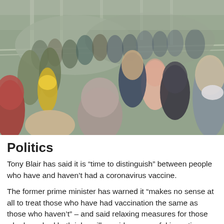[Figure (photo): A large crowd of people walking on a bridge on a sunny day, with one person on the right wearing a face mask. The bridge has white metal arch structure visible in the background.]
Politics
Tony Blair has said it is “time to distinguish” between people who have and haven’t had a coronavirus vaccine.
The former prime minister has warned it “makes no sense at all to treat those who have had vaccination the same as those who haven’t” – and said relaxing measures for those who have had both jabs will provide a powerful incentive.